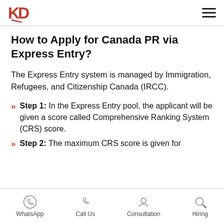KD logo and navigation hamburger menu
How to Apply for Canada PR via Express Entry?
The Express Entry system is managed by Immigration, Refugees, and Citizenship Canada (IRCC).
Step 1: In the Express Entry pool, the applicant will be given a score called Comprehensive Ranking System (CRS) score.
Step 2: The maximum CRS score is given for
WhatsApp  Call Us  Consultation  Hiring